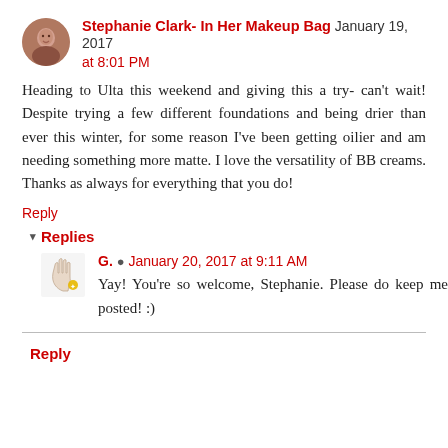Stephanie Clark- In Her Makeup Bag January 19, 2017 at 8:01 PM
Heading to Ulta this weekend and giving this a try- can't wait! Despite trying a few different foundations and being drier than ever this winter, for some reason I've been getting oilier and am needing something more matte. I love the versatility of BB creams. Thanks as always for everything that you do!
Reply
▾ Replies
[Figure (illustration): Hand/gesture avatar illustration for user G.]
G. ✔ January 20, 2017 at 9:11 AM
Yay! You're so welcome, Stephanie. Please do keep me posted! :)
Reply